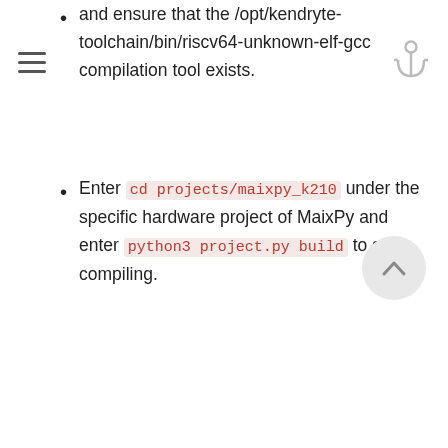and ensure that the /opt/kendryte-toolchain/bin/riscv64-unknown-elf-gcc compilation tool exists.
Enter cd projects/maixpy_k210 under the specific hardware project of MaixPy and enter python3 project.py build to start compiling.
This is the end of the entire compilation step. After successful compilation, you will get a build folder in the projects/maixpy_k210 directory, which contains the following files:
maixpy.bin will be burned to the K210 firmware at address 0x000000.
maixpy.txt The content of the decompiled code